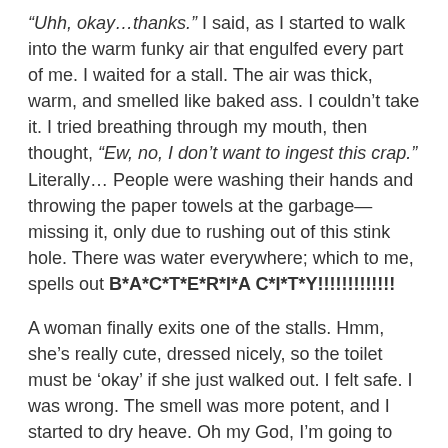“Uhh, okay…thanks.” I said, as I started to walk into the warm funky air that engulfed every part of me. I waited for a stall. The air was thick, warm, and smelled like baked ass. I couldn’t take it. I tried breathing through my mouth, then thought, “Ew, no, I don’t want to ingest this crap.” Literally… People were washing their hands and throwing the paper towels at the garbage—missing it, only due to rushing out of this stink hole. There was water everywhere; which to me, spells out B*A*C*T*E*R*I*A C*I*T*Y!!!!!!!!!!!!!
A woman finally exits one of the stalls. Hmm, she’s really cute, dressed nicely, so the toilet must be ‘okay’ if she just walked out. I felt safe. I was wrong. The smell was more potent, and I started to dry heave. Oh my God, I’m going to throw up! I can’t believe this! Do I throw up in the toilet, or do I just projectile my vomit over the stall into the next bathroom? I try holding my breath longer. I’m going to reek of ass when I walk out of here. This is not good. I made the huge mistake of sitting on the toilet. What do these women do? Smear their nastiness all